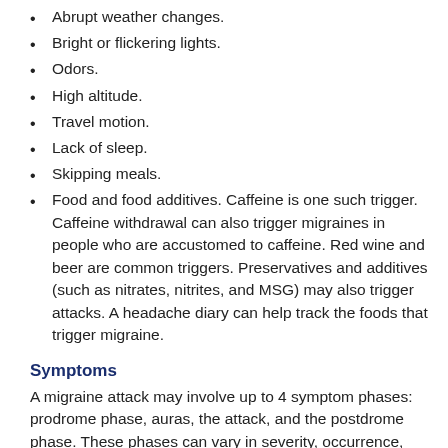Abrupt weather changes.
Bright or flickering lights.
Odors.
High altitude.
Travel motion.
Lack of sleep.
Skipping meals.
Food and food additives. Caffeine is one such trigger. Caffeine withdrawal can also trigger migraines in people who are accustomed to caffeine. Red wine and beer are common triggers. Preservatives and additives (such as nitrates, nitrites, and MSG) may also trigger attacks. A headache diary can help track the foods that trigger migraine.
Symptoms
A migraine attack may involve up to 4 symptom phases: prodrome phase, auras, the attack, and the postdrome phase. These phases can vary in severity, occurrence, with